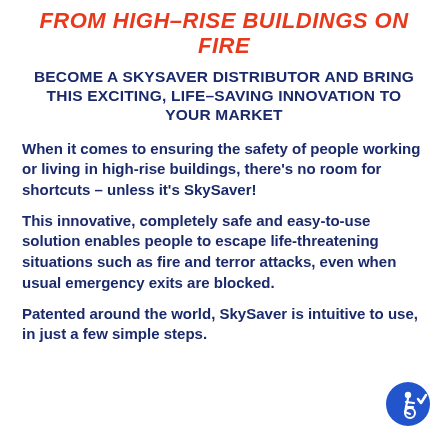FROM HIGH-RISE BUILDINGS ON FIRE
BECOME A SKYSAVER DISTRIBUTOR AND BRING THIS EXCITING, LIFE-SAVING INNOVATION TO YOUR MARKET
When it comes to ensuring the safety of people working or living in high-rise buildings, there’s no room for shortcuts – unless it’s SkySaver!
This innovative, completely safe and easy-to-use solution enables people to escape life-threatening situations such as fire and terror attacks, even when usual emergency exits are blocked.
Patented around the world, SkySaver is intuitive to use, in just a few simple steps.
[Figure (logo): Blue circle with white wheelchair accessibility icon and a checkmark]